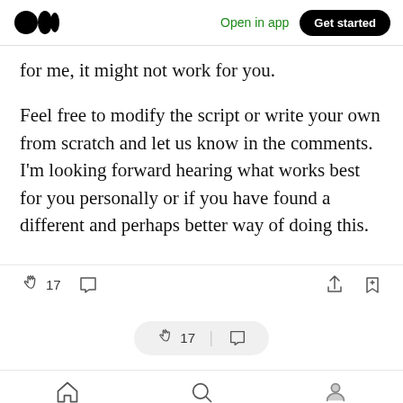Medium logo | Open in app | Get started
for me, it might not work for you.
Feel free to modify the script or write your own from scratch and let us know in the comments. I'm looking forward hearing what works best for you personally or if you have found a different and perhaps better way of doing this.
17 claps | comment | share | bookmark | home | search | profile